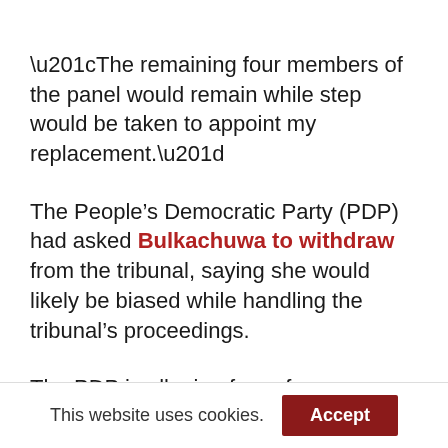“The remaining four members of the panel would remain while step would be taken to appoint my replacement.”
The People’s Democratic Party (PDP) had asked Bulkachuwa to withdraw from the tribunal, saying she would likely be biased while handling the tribunal’s proceedings.
The PDP is alleging fear of pre-conceived bias
This website uses cookies.